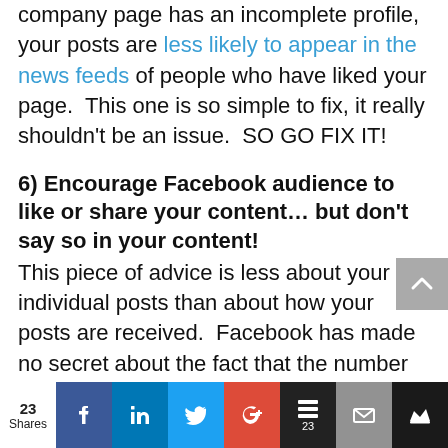but apparently it is a little if your company page has an incomplete profile, your posts are less likely to appear in the news feeds of people who have liked your page.  This one is so simple to fix, it really shouldn't be an issue.  SO GO FIX IT!
6) Encourage Facebook audience to like or share your content… but don't say so in your content!
This piece of advice is less about your individual posts than about how your posts are received.  Facebook has made no secret about the fact that the number of likes or shares, along with when those likes